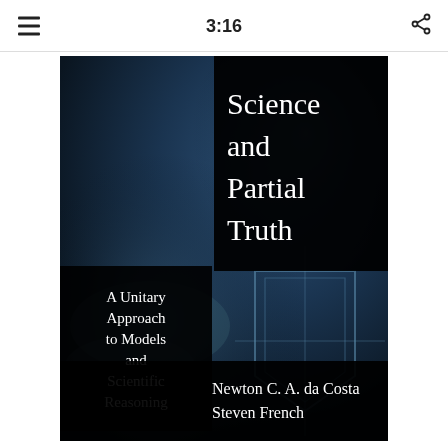3:16
[Figure (photo): Book cover of 'Science and Partial Truth: A Unitary Approach to Models and Scientific Reasoning' by Newton C. A. da Costa and Steven French. Dark blue textured background with black quadrant boxes containing white serif text for the title, subtitle, and authors.]